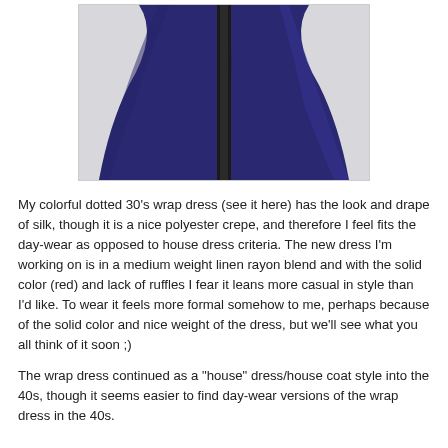[Figure (photo): A navy blue wrap dress displayed on a dress form/mannequin stand against a light gray background. Only the skirt portion of the dress is visible, showing the flowing fabric draping over the stand.]
My colorful dotted 30's wrap dress (see it here) has the look and drape of silk, though it is a nice polyester crepe, and therefore I feel fits the day-wear as opposed to house dress criteria. The new dress I'm working on is in a medium weight linen rayon blend and with the solid color (red) and lack of ruffles I fear it leans more casual in style than I'd like. To wear it feels more formal somehow to me, perhaps because of the solid color and nice weight of the dress, but we'll see what you all think of it soon ;)
The wrap dress continued as a "house" dress/house coat style into the 40s, though it seems easier to find day-wear versions of the wrap dress in the 40s.